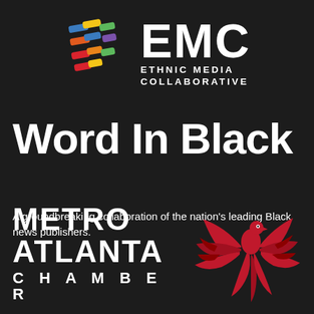[Figure (logo): EMC Ethnic Media Collaborative logo with colorful geometric icon and white text]
Word In Black
A groundbreaking collaboration of the nation's leading Black news publishers.
[Figure (logo): Metro Atlanta Chamber logo with white bold text and red phoenix bird illustration]